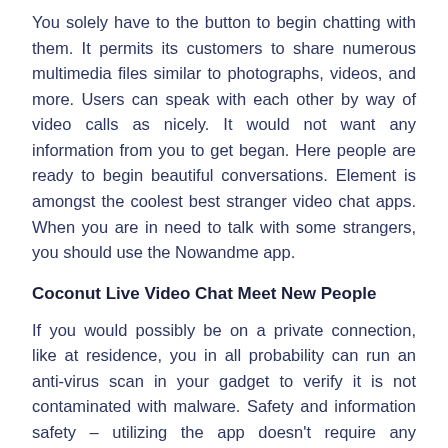You solely have to the button to begin chatting with them. It permits its customers to share numerous multimedia files similar to photographs, videos, and more. Users can speak with each other by way of video calls as nicely. It would not want any information from you to get began. Here people are ready to begin beautiful conversations. Element is amongst the coolest best stranger video chat apps. When you are in need to talk with some strangers, you should use the Nowandme app.
Coconut Live Video Chat Meet New People
If you would possibly be on a private connection, like at residence, you in all probability can run an anti-virus scan in your gadget to verify it is not contaminated with malware. Safety and information safety – utilizing the app doesn't require any personal information. Broadcast LIVE through joingy chat the app and be confirmed to lots of of